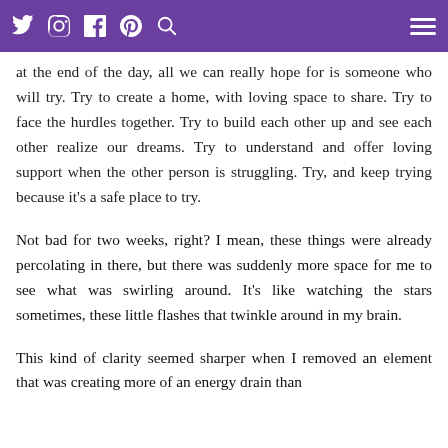Navigation bar with social icons (Twitter, Instagram, Facebook, Pinterest, Search) and hamburger menu on purple background
kinds of things at us. How building relationship can really illuminate complex pieces of who we are. We agreed that at the end of the day, all we can really hope for is someone who will try. Try to create a home, with loving space to share. Try to face the hurdles together. Try to build each other up and see each other realize our dreams. Try to understand and offer loving support when the other person is struggling. Try, and keep trying because it's a safe place to try.
Not bad for two weeks, right? I mean, these things were already percolating in there, but there was suddenly more space for me to see what was swirling around. It's like watching the stars sometimes, these little flashes that twinkle around in my brain.
This kind of clarity seemed sharper when I removed an element that was creating more of an energy drain than